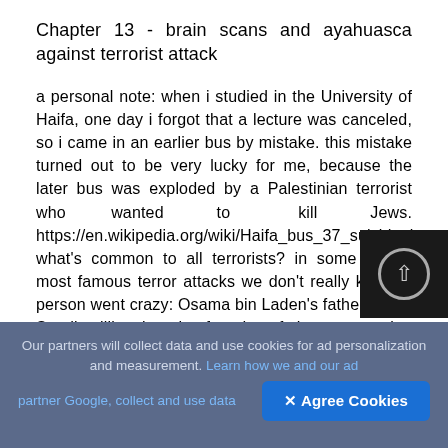Chapter 13 - brain scans and ayahuasca against terrorist attack
a personal note: when i studied in the University of Haifa, one day i forgot that a lecture was canceled, so i came in an earlier bus by mistake. this mistake turned out to be very lucky for me, because the later bus was exploded by a Palestinian terrorist who wanted to kill Jews. https://en.wikipedia.org/wiki/Haifa_bus_37_suicide_bom what's common to all terrorists? in some of the most famous terror attacks we don't really know w person went crazy: Osama bin Laden's father was a Saudi millionaire, the founder of the construction company, and head of "the wealthiest non-royal
Our partners will collect data and use cookies for ad personalization and measurement. Learn how we and our ad partner Google, collect and use data
✕ Agree Cookies